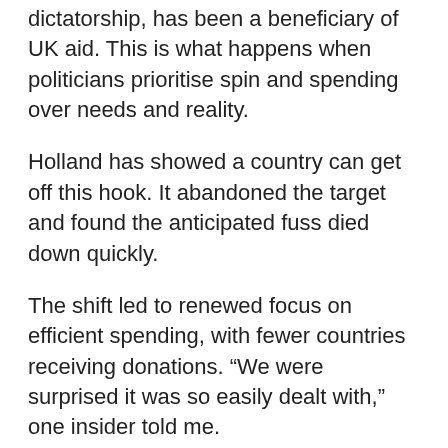dictatorship, has been a beneficiary of UK aid. This is what happens when politicians prioritise spin and spending over needs and reality.
Holland has showed a country can get off this hook. It abandoned the target and found the anticipated fuss died down quickly.
The shift led to renewed focus on efficient spending, with fewer countries receiving donations. “We were surprised it was so easily dealt with,” one insider told me.
Dutch spending has dipped from 0.75 per cent of national income in 2015 to 0.6 per cent last year and will fall again over the coming years.
Let us welcome the dawning realisation in